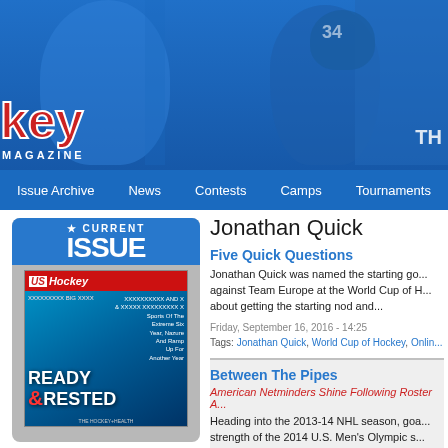[Figure (photo): Hockey magazine website header banner showing hockey players on blue background with partial logo reading 'key MAGAZINE' in red/white and navigation menu]
Issue Archive   News   Contests   Camps   Tournaments
[Figure (photo): Current Issue sidebar showing magazine cover with 'READY & RESTED' text on USA Hockey Magazine]
Jonathan Quick
Five Quick Questions
Jonathan Quick was named the starting go... against Team Europe at the World Cup of H... about getting the starting nod and...
Friday, September 16, 2016 - 14:25
Tags: Jonathan Quick, World Cup of Hockey, Onlin...
Between The Pipes
American Netminders Shine Following Roster A...
Heading into the 2013-14 NHL season, goa... strength of the 2014 U.S. Men's Olympic s...